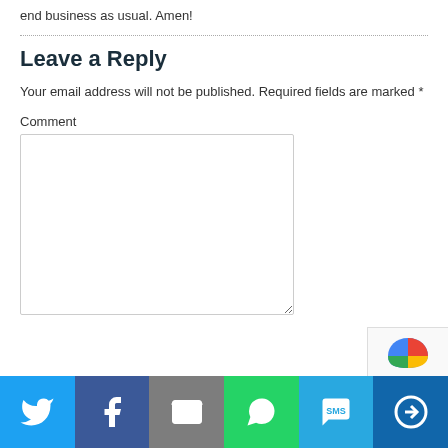end business as usual. Amen!
Leave a Reply
Your email address will not be published. Required fields are marked *
Comment
[Figure (screenshot): Comment text area input box]
[Figure (infographic): Social share bar with Twitter, Facebook, Email, WhatsApp, SMS, and More buttons]